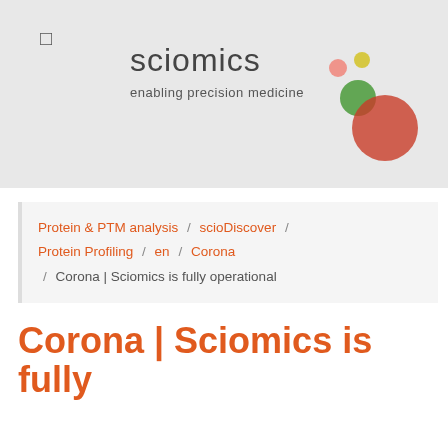[Figure (logo): Sciomics logo with colored dots (salmon, yellow, green, red) and tagline 'enabling precision medicine' on grey background]
Protein & PTM analysis / scioDiscover / Protein Profiling / en / Corona / Corona | Sciomics is fully operational
Corona | Sciomics is fully